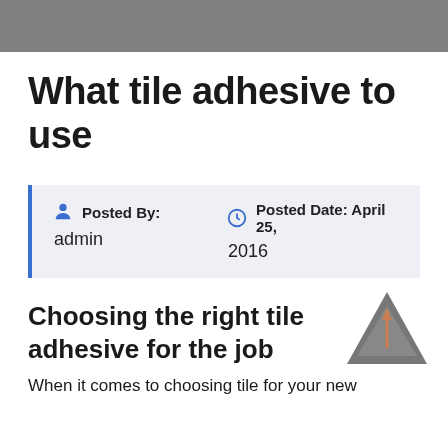What tile adhesive to use
Posted By: admin   Posted Date: April 25, 2016
Choosing the right tile adhesive for the job
When it comes to choosing tile for your new